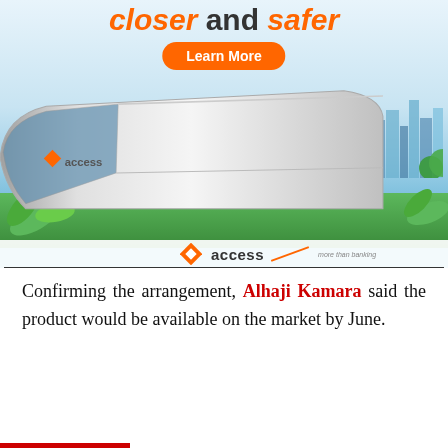[Figure (photo): Advertisement banner for Access Bank featuring a futuristic silver bullet train on green grass with a city skyline in the background, orange 'closer and safer' headline, 'Learn More' button, and Access Bank logo at the bottom.]
Confirming the arrangement, Alhaji Kamara said the product would be available on the market by June.